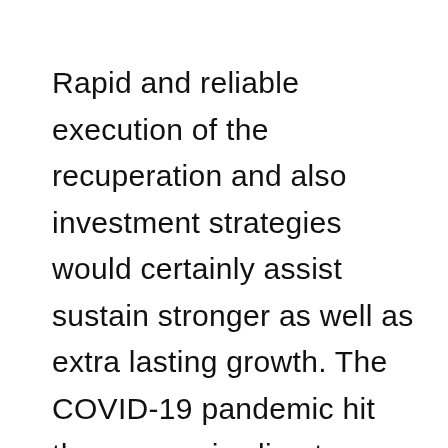Rapid and reliable execution of the recuperation and also investment strategies would certainly assist sustain stronger as well as extra lasting growth. The COVID-19 pandemic hit the economic climate hard, prompting a significant downturn. Economic task tumbled as sanitary limitations limited intake and also investment. Employees and households with weak add-on to